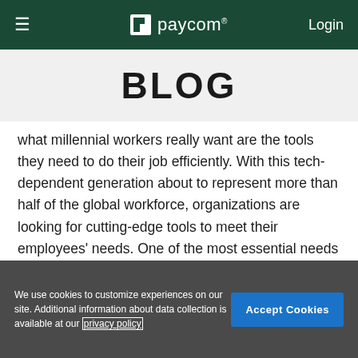≡  paycom®   Login
BLOG
what millennial workers really want are the tools they need to do their job efficiently. With this tech-dependent generation about to represent more than half of the global workforce, organizations are looking for cutting-edge tools to meet their employees' needs. One of the most essential needs of this generation is personal and career development through learning programs.
We use cookies to customize experiences on our site. Additional information about data collection is available at our privacy policy